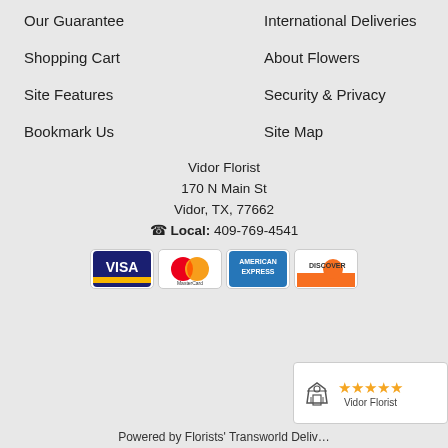Our Guarantee
International Deliveries
Shopping Cart
About Flowers
Site Features
Security & Privacy
Bookmark Us
Site Map
Vidor Florist
170 N Main St
Vidor, TX, 77662
☎ Local: 409-769-4541
[Figure (logo): Payment card logos: Visa, MasterCard, American Express, Discover]
[Figure (infographic): 5-star rating badge with shopping cart icon and text 'Vidor Florist']
Powered by Florists' Transworld Deliv...